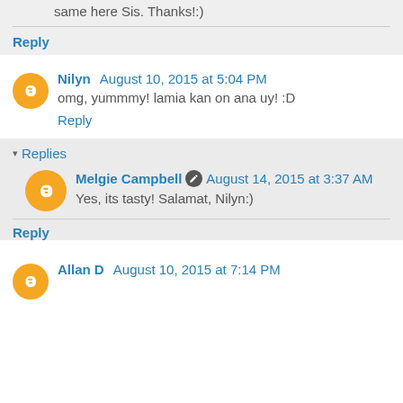same here Sis. Thanks!:)
Reply
Nilyn  August 10, 2015 at 5:04 PM
omg, yummmy! lamia kan on ana uy! :D
Reply
Replies
Melgie Campbell  August 14, 2015 at 3:37 AM
Yes, its tasty! Salamat, Nilyn:)
Reply
Allan D  August 10, 2015 at 7:14 PM